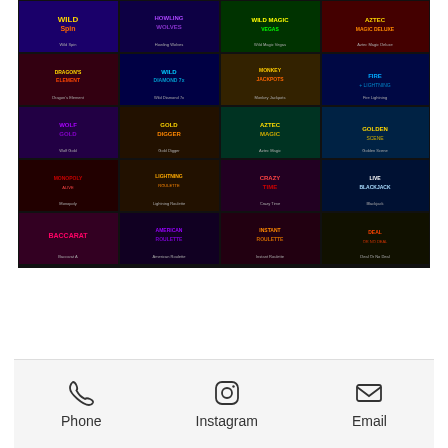[Figure (screenshot): Casino game lobby showing a 4x5 grid of game thumbnails including Wild Spin, Howling Wolves, Wild Magic Vegas, Aztec Magic Deluxe, Dragon's Element, Wild Diamond 7x, Monkey Jackpots, Fire Lightning, Wolf Gold, Gold Digger, Aztec Magic, Golden Scene, Monopoly, Lightning Roulette, Crazy Time, Blackjack, Baccarat, American Roulette, Instant Roulette, Deal or No Deal live casino games]
[Figure (screenshot): Website footer with three contact options: Phone (telephone icon), Instagram (Instagram icon), Email (envelope icon)]